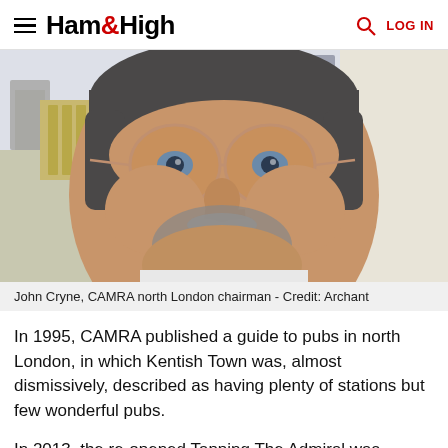Ham&High  LOG IN
[Figure (photo): Close-up photo of a smiling middle-aged man with glasses with tinted orange lenses, grey beard and moustache, wearing a white shirt. Background shows a city skyline.]
John Cryne, CAMRA north London chairman - Credit: Archant
In 1995, CAMRA published a guide to pubs in north London, in which Kentish Town was, almost dismissively, described as having plenty of stations but few wonderful pubs.
In 2013, the re-opened Tapping The Admiral was